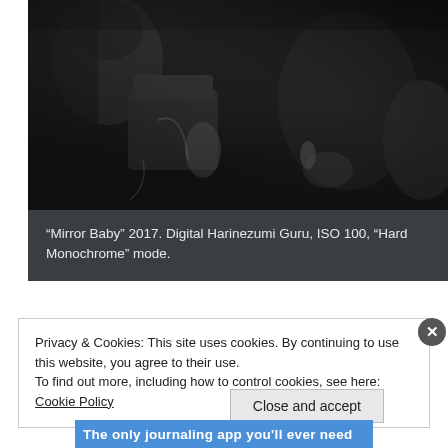[Figure (photo): Black and white photograph titled 'Mirror Baby' 2017, showing interior scene with chairs/seats, high contrast monochrome style]
“Mirror Baby” 2017. Digital Harinezumi Guru, ISO 100, “Hard Monochrome” mode.
Privacy & Cookies: This site uses cookies. By continuing to use this website, you agree to their use.
To find out more, including how to control cookies, see here: Cookie Policy
Close and accept